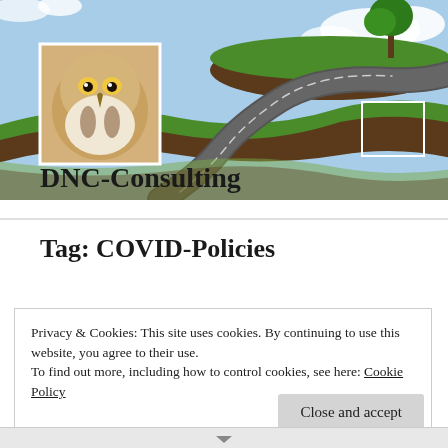[Figure (photo): Website header banner with sky background, floating green grass islands, a winding road, a hawk/falcon portrait photo in the upper left, and a white outlined rectangle in the upper right. The text 'DNC-Consulting' overlays the lower part of the banner.]
Tag: COVID-Policies
Privacy & Cookies: This site uses cookies. By continuing to use this website, you agree to their use.
To find out more, including how to control cookies, see here: Cookie Policy
Close and accept